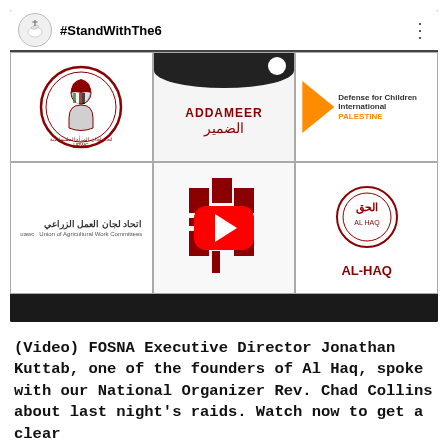[Figure (screenshot): YouTube video thumbnail showing #StandWithThe6 with a grid of 6 Palestinian organization logos: UPWC, ADDAMEER, Defense for Children International Palestine, Union of Agricultural Work Committees (UAWC), Bisan (Arabic logo), and Al-Haq. A red YouTube play button is centered over the grid.]
(Video) FOSNA Executive Director Jonathan Kuttab, one of the founders of Al Haq, spoke with our National Organizer Rev. Chad Collins about last night's raids. Watch now to get a clear